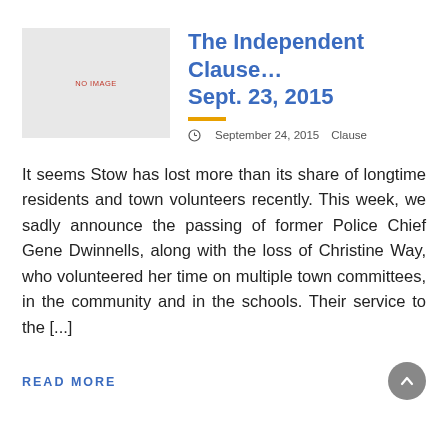[Figure (other): Gray placeholder box with 'NO IMAGE' text in red]
The Independent Clause… Sept. 23, 2015
September 24, 2015   Clause
It seems Stow has lost more than its share of longtime residents and town volunteers recently. This week, we sadly announce the passing of former Police Chief Gene Dwinnells, along with the loss of Christine Way, who volunteered her time on multiple town committees, in the community and in the schools. Their service to the [...]
READ MORE